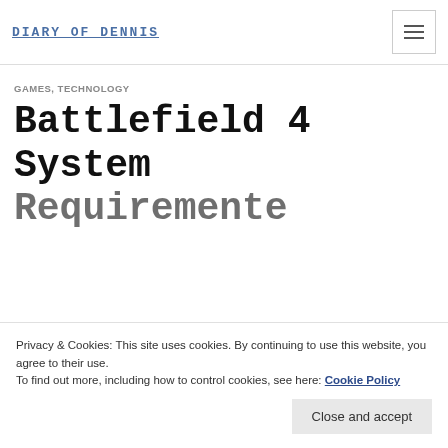DIARY OF DENNIS
GAMES, TECHNOLOGY
Battlefield 4 System Requirements
Privacy & Cookies: This site uses cookies. By continuing to use this website, you agree to their use. To find out more, including how to control cookies, see here: Cookie Policy
Close and accept